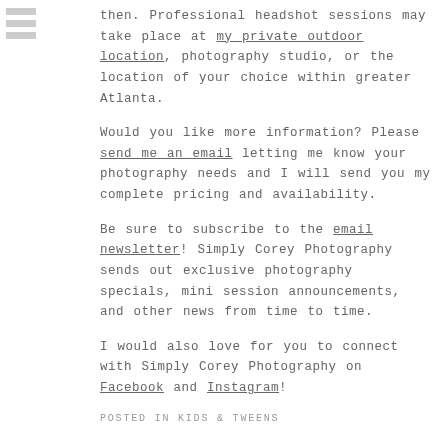[Figure (other): Hamburger menu icon made of three gray horizontal bars]
then. Professional headshot sessions may take place at my private outdoor location, photography studio, or the location of your choice within greater Atlanta.
Would you like more information? Please send me an email letting me know your photography needs and I will send you my complete pricing and availability.
Be sure to subscribe to the email newsletter! Simply Corey Photography sends out exclusive photography specials, mini session announcements, and other news from time to time.
I would also love for you to connect with Simply Corey Photography on Facebook and Instagram!
POSTED IN KIDS & TWEENS